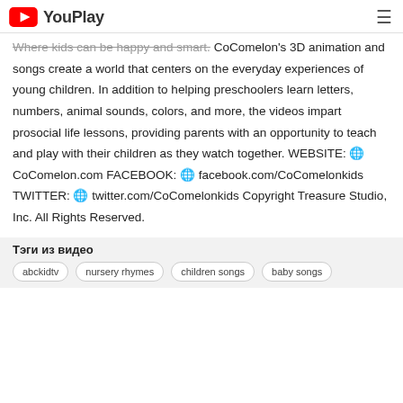YouPlay
Where kids can be happy and smart. CoComelon's 3D animation and songs create a world that centers on the everyday experiences of young children. In addition to helping preschoolers learn letters, numbers, animal sounds, colors, and more, the videos impart prosocial life lessons, providing parents with an opportunity to teach and play with their children as they watch together. WEBSITE: 🌐CoComelon.com FACEBOOK: 🌐 facebook.com/CoComelonkids TWITTER: 🌐 twitter.com/CoComelonkids Copyright Treasure Studio, Inc. All Rights Reserved.
Тэги из видео
abckidtv
nursery rhymes
children songs
baby songs